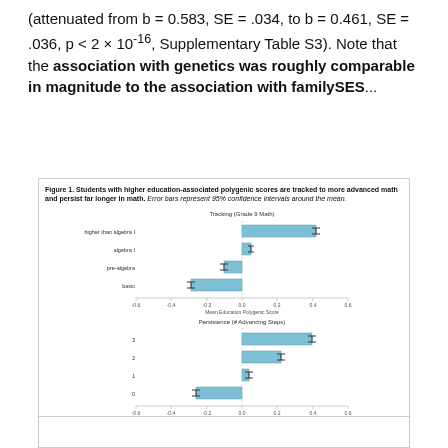(attenuated from b = 0.583, SE = .034, to b = 0.461, SE = .036, p < 2 × 10-16, Supplementary Table S3). Note that the association with genetics was roughly comparable in magnitude to the association with familySES...
[Figure (bar-chart): Two horizontal bar charts. Top panel: Tracking (Grade 9 Math) with categories higher than algebra I, algebra I, pre-algebra, basic plotted against Mean Education Polygenic Score. Bottom panel: Persistence (# Advancing Steps) with categories 3, 2, 1, 0 plotted against Mean Education Polygenic Score.]
Figure 1. Students with higher education-associated polygenic scores are tracked to more advanced math and persist far longer in math. Error bars represent 95% confidence intervals around the mean.